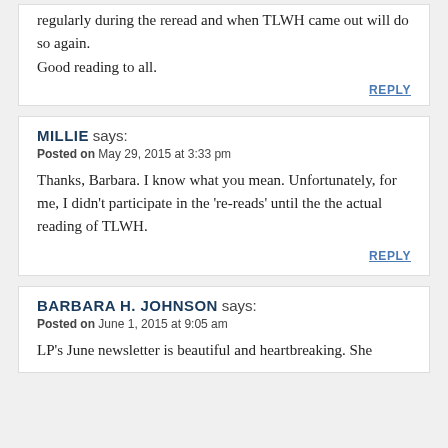regularly during the reread and when TLWH came out will do so again.
Good reading to all.
REPLY
MILLIE says:
Posted on May 29, 2015 at 3:33 pm
Thanks, Barbara. I know what you mean. Unfortunately, for me, I didn't participate in the 're-reads' until the the actual reading of TLWH.
REPLY
BARBARA H. JOHNSON says:
Posted on June 1, 2015 at 9:05 am
LP's June newsletter is beautiful and heartbreaking. She